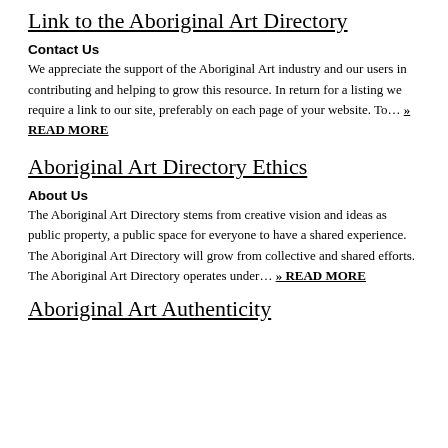Link to the Aboriginal Art Directory
Contact Us
We appreciate the support of the Aboriginal Art industry and our users in contributing and helping to grow this resource. In return for a listing we require a link to our site, preferably on each page of your website. To… » READ MORE
Aboriginal Art Directory Ethics
About Us
The Aboriginal Art Directory stems from creative vision and ideas as public property, a public space for everyone to have a shared experience. The Aboriginal Art Directory will grow from collective and shared efforts. The Aboriginal Art Directory operates under… » READ MORE
Aboriginal Art Authenticity